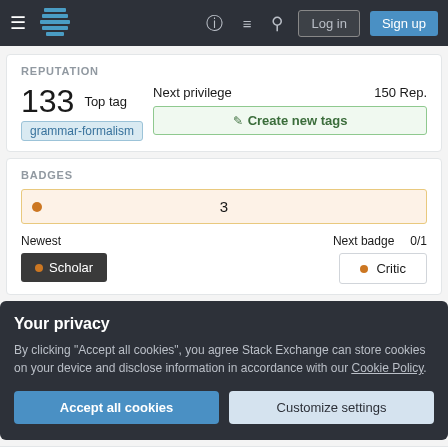Stack Exchange navigation bar with Log in and Sign up buttons
REPUTATION
133  Top tag  grammar-formalism  Next privilege  150 Rep.  Create new tags
BADGES
● 3  Newest  Scholar  Next badge  0/1  Critic
Your privacy
By clicking "Accept all cookies", you agree Stack Exchange can store cookies on your device and disclose information in accordance with our Cookie Policy.
Accept all cookies  Customize settings
Questions  Score  Activity  Newest  Views